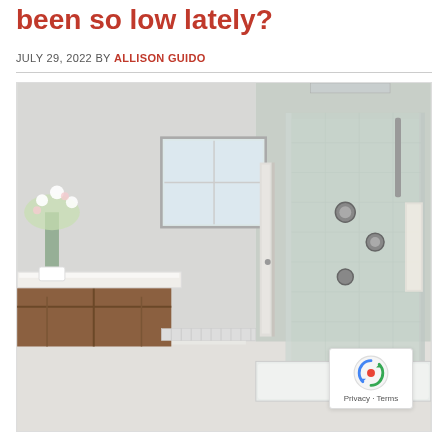been so low lately?
JULY 29, 2022 BY ALLISON GUIDO
[Figure (photo): A bright white bathroom interior featuring a glass-enclosed shower/tub combo on the right side with chrome fixtures, a white countertop vanity with a wooden base on the left, white tile walls, a window letting in natural light, and a white orchid plant in the foreground.]